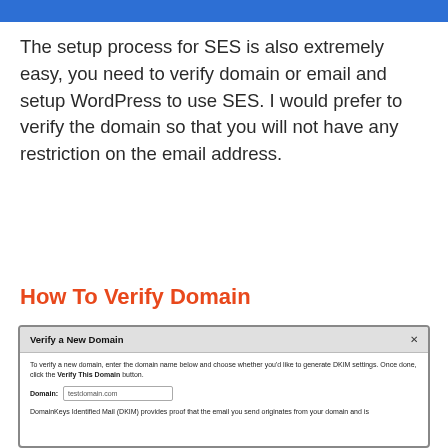The setup process for SES is also extremely easy, you need to verify domain or email and setup WordPress to use SES. I would prefer to verify the domain so that you will not have any restriction on the email address.
How To Verify Domain
[Figure (screenshot): Screenshot of 'Verify a New Domain' dialog box showing a domain input field with 'testdomain.com' entered, instructions about DKIM settings, and a Verify This Domain button.]